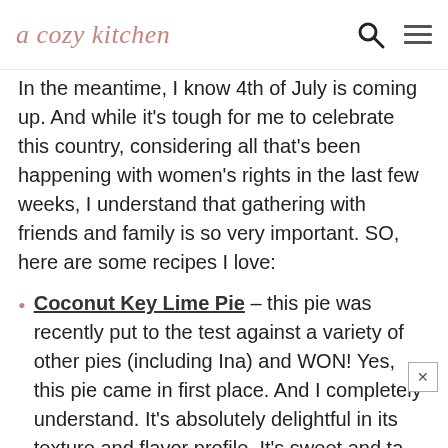a cozy kitchen
In the meantime, I know 4th of July is coming up. And while it's tough for me to celebrate this country, considering all that's been happening with women's rights in the last few weeks, I understand that gathering with friends and family is so very important. SO, here are some recipes I love:
Coconut Key Lime Pie – this pie was recently put to the test against a variety of other pies (including Ina) and WON! Yes, this pie came in first place. And I completely understand. It's absolutely delightful in its texture and flavor profile. It's sweet and ta
with a hint of coconut which gives you that perfect tropical vibe